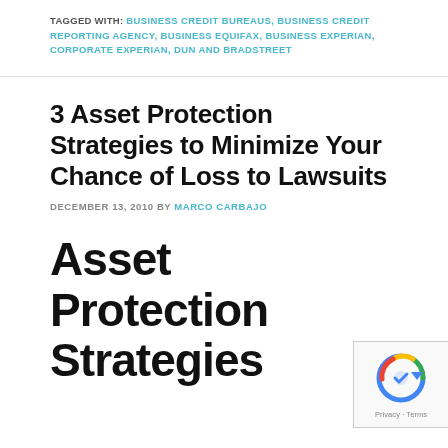TAGGED WITH: BUSINESS CREDIT BUREAUS, BUSINESS CREDIT REPORTING AGENCY, BUSINESS EQUIFAX, BUSINESS EXPERIAN, CORPORATE EXPERIAN, DUN AND BRADSTREET
3 Asset Protection Strategies to Minimize Your Chance of Loss to Lawsuits
DECEMBER 13, 2010 BY MARCO CARBAJO
Asset Protection Strategies